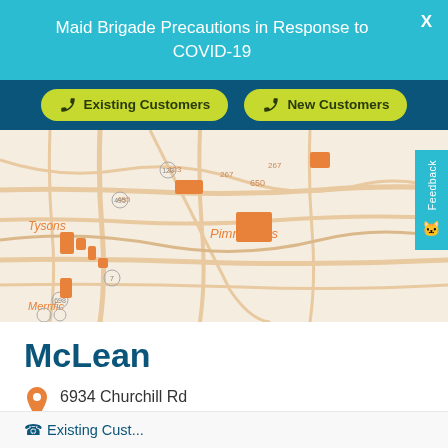Maid Brigade Precautions in Response to COVID-19
[Figure (screenshot): Navigation bar with two yellow-green buttons: 'Existing Customers' and 'New Customers', on a dark teal background]
[Figure (map): Street map showing Tysons, Pimmit Hills, Merrifield area with orange building highlights]
McLean
6934 Churchill Rd
McLean, VA 22101
Change your location